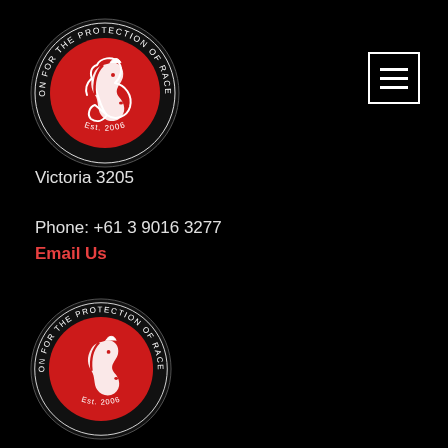[Figure (logo): Coalition for the Protection of Racehorses circular logo — black ring with white text around a red circle containing a white horse head silhouette, Est. 2006 at bottom]
[Figure (illustration): Hamburger menu icon — square outline with three horizontal white bars inside]
Victoria 3205
Phone: +61 3 9016 3277
Email Us
[Figure (logo): Coalition for the Protection of Racehorses circular logo — black ring with white text around a red circle containing a white horse head silhouette, Est. 2006 at bottom]